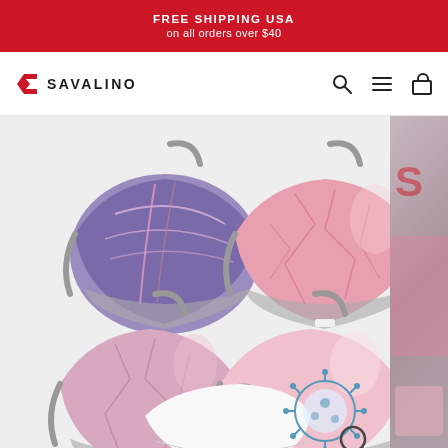FREE SHIPPING USA on all orders over $40
[Figure (logo): Savalino brand logo with stylized S icon in red and brand name in black capitals]
[Figure (photo): Product photo showing four face masks in pink/purple/lavender patterns arranged in a 2x2 grid, plus a white mask partially visible at bottom, on a light gray background. A virus/bacteria icon with magnifying glass appears in the lower right corner.]